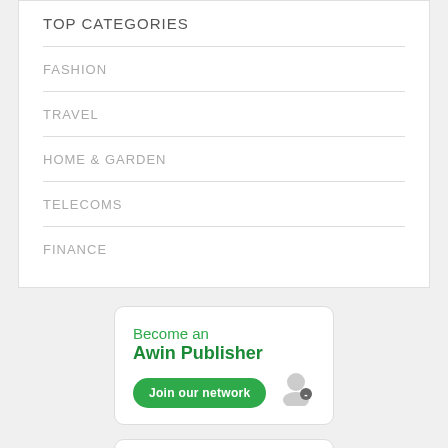TOP CATEGORIES
FASHION
TRAVEL
HOME & GARDEN
TELECOMS
FINANCE
[Figure (infographic): Promotional card: 'Become an Awin Publisher' with a green 'Join our network' button and user icon]
[Figure (infographic): Newsletter card: 'Weekly Publisher Newsletter']